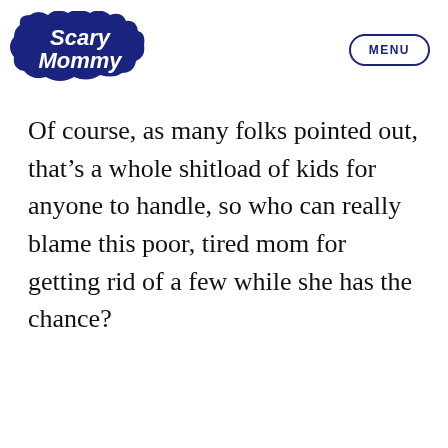[Figure (logo): Scary Mommy logo — white stylized text on dark navy cloud/bubble shape]
MENU
Of course, as many folks pointed out, that’s a whole shitload of kids for anyone to handle, so who can really blame this poor, tired mom for getting rid of a few while she has the chance?